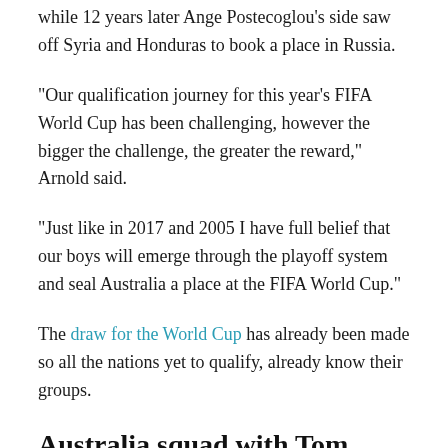while 12 years later Ange Postecoglou's side saw off Syria and Honduras to book a place in Russia.
“Our qualification journey for this year’s FIFA World Cup has been challenging, however the bigger the challenge, the greater the reward,” Arnold said.
“Just like in 2017 and 2005 I have full belief that our boys will emerge through the playoff system and seal Australia a place at the FIFA World Cup.”
The draw for the World Cup has already been made so all the nations yet to qualify, already know their groups.
Australia squad with Tom Rogic:
Goalkeepers: Andrew Redmayne, Mathew Ryan, Danny Vukovic